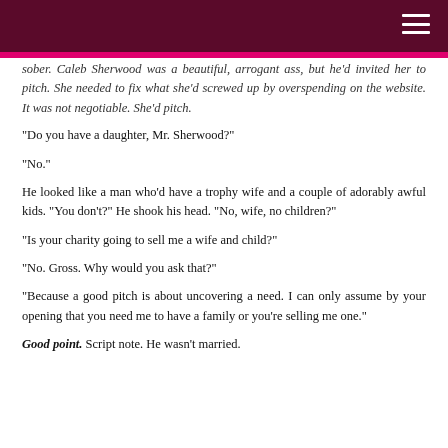sober. Caleb Sherwood was a beautiful, arrogant ass, but he'd invited her to pitch. She needed to fix what she'd screwed up by overspending on the website. It was not negotiable. She'd pitch.
“Do you have a daughter, Mr. Sherwood?”
“No.”
He looked like a man who’d have a trophy wife and a couple of adorably awful kids. “You don’t?” He shook his head. “No, wife, no children?”
“Is your charity going to sell me a wife and child?”
“No. Gross. Why would you ask that?”
“Because a good pitch is about uncovering a need. I can only assume by your opening that you need me to have a family or you’re selling me one.”
Good point. Script note. He wasn’t married.